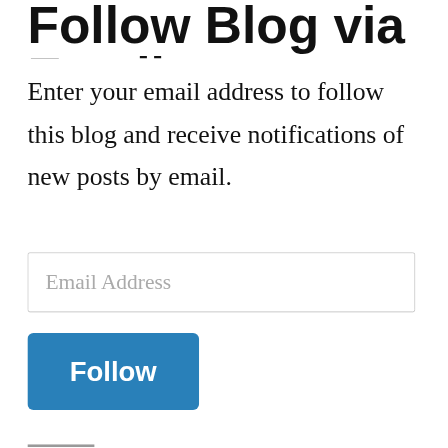Follow Blog via Email
Enter your email address to follow this blog and receive notifications of new posts by email.
[Figure (other): Email Address input field (text input box with placeholder text 'Email Address')]
[Figure (other): Follow button — blue rounded rectangle with white bold text 'Follow']
Recent Posts